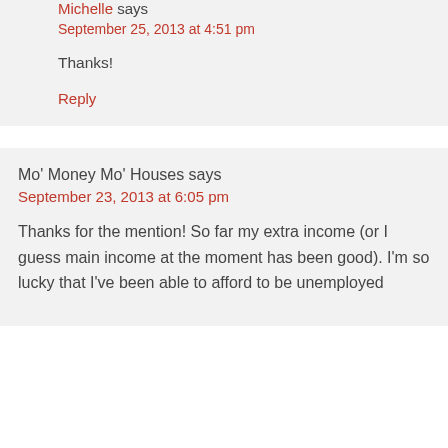Michelle says
September 25, 2013 at 4:51 pm
Thanks!
Reply
Mo' Money Mo' Houses says
September 23, 2013 at 6:05 pm
Thanks for the mention! So far my extra income (or I guess main income at the moment has been good). I'm so lucky that I've been able to afford to be unemployed